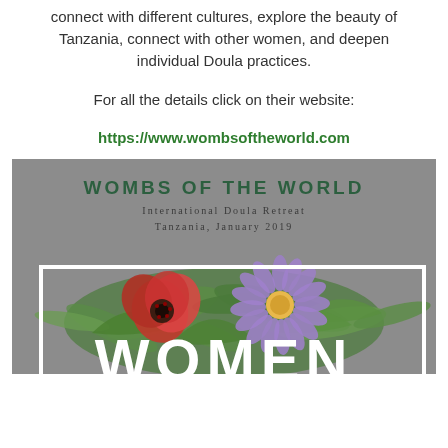connect with different cultures, explore the beauty of Tanzania, connect with other women, and deepen individual Doula practices.
For all the details click on their website:
https://www.wombsoftheworld.com
[Figure (illustration): Promotional image for Wombs of the World International Doula Retreat, Tanzania, January 2019. Grey background with floral arrangement (red poppy, purple daisy, green leaves) and large white 'WOMEN' text in a white-bordered rectangle.]